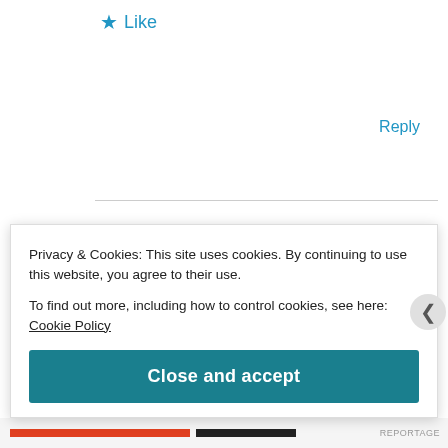★ Like
Reply
InspiresN
October 26, 2018 at 4:44 am
wow! I usually make nadan chicken curry .After seeing this recipe would definitely try with mutton! Thanks for sharing!
Privacy & Cookies: This site uses cookies. By continuing to use this website, you agree to their use.
To find out more, including how to control cookies, see here: Cookie Policy
Close and accept